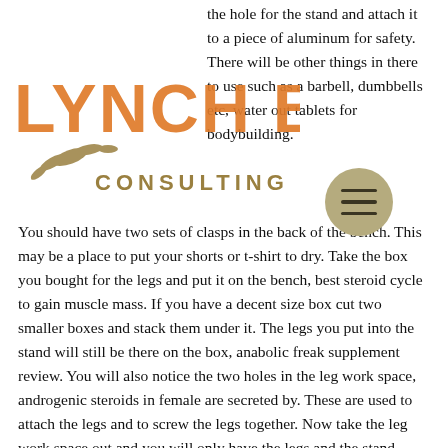the hole for the stand and attach it to a piece of aluminum for safety. There will be other things in there to use such as a barbell, dumbbells etc, water out tablets for bodybuilding.
You should have two sets of clasps in the back of the bench. This may be a place to put your shorts or t-shirt to dry. Take the box you bought for the legs and put it on the bench, best steroid cycle to gain muscle mass. If you have a decent size box cut two smaller boxes and stack them under it. The legs you put into the stand will still be there on the box, anabolic freak supplement review. You will also notice the two holes in the leg work space, androgenic steroids in female are secreted by. These are used to attach the legs and to screw the legs together. Now take the leg work space out and you will only have the legs and the stand.